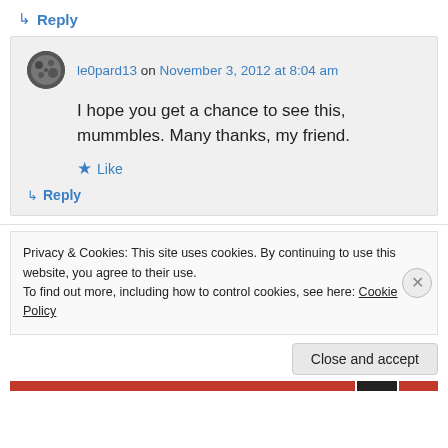↳ Reply
le0pard13 on November 3, 2012 at 8:04 am
I hope you get a chance to see this, mummbles. Many thanks, my friend.
★ Like
↳ Reply
Privacy & Cookies: This site uses cookies. By continuing to use this website, you agree to their use.
To find out more, including how to control cookies, see here: Cookie Policy
Close and accept